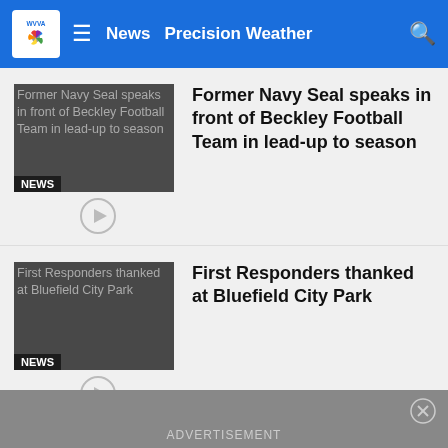WVVA | News | Precision Weather
[Figure (screenshot): Thumbnail image for Former Navy Seal story with NEWS badge overlay]
Former Navy Seal speaks in front of Beckley Football Team in lead-up to season
[Figure (screenshot): Thumbnail image for First Responders story with NEWS badge overlay]
First Responders thanked at Bluefield City Park
[Figure (screenshot): Thumbnail image for Aaron Lowe Richlands story with SPORTS badge overlay]
Aaron Lowe Richlands
MORE NEWS
ADVERTISEMENT